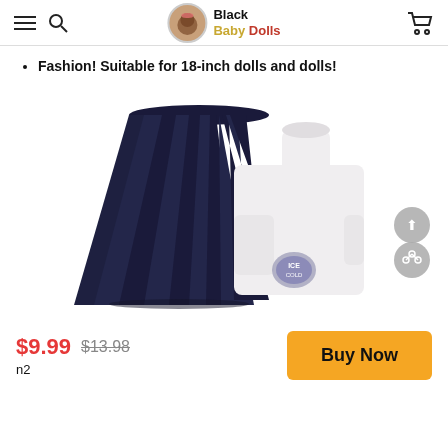Black Baby Dolls
Fashion! Suitable for 18-inch dolls and dolls!
[Figure (photo): Product photo showing a navy blue pleated skirt and a white turtleneck top with a small patch, for 18-inch dolls]
$9.99  $13.98
n2
Buy Now